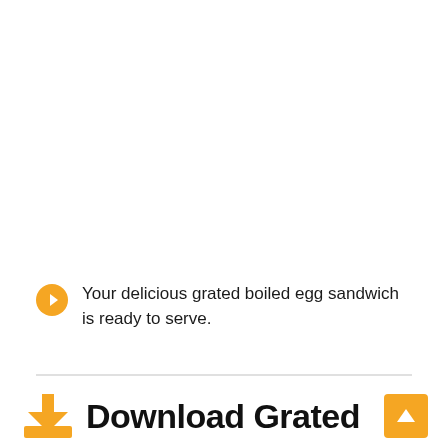Your delicious grated boiled egg sandwich is ready to serve.
Download Grated